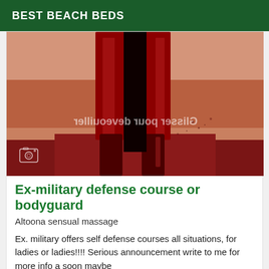BEST BEACH BEDS
[Figure (illustration): Illustrated figure of a person in a long dark red coat and boots standing in a dusty/reddish scene. Mirrored watermark text reading 'Glisser pour deveouiller' visible in the center. A camera icon appears in the lower left.]
Ex-military defense course or bodyguard
Altoona sensual massage
Ex. military offers self defense courses all situations, for ladies or ladies!!!! Serious announcement write to me for more info a soon maybe